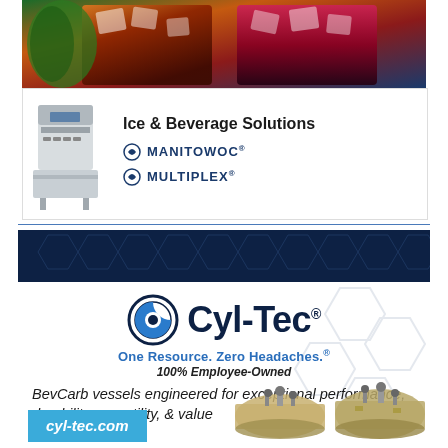[Figure (photo): Close-up photo of iced cola drinks, vibrant colors of orange/red with ice cubes]
[Figure (illustration): Ice & Beverage Solutions advertisement featuring Manitowoc ice machine with Manitowoc and Multiplex brand logos]
[Figure (logo): Cyl-Tec advertisement with dark blue header with hexagon pattern, Cyl-Tec logo, tagline 'One Resource. Zero Headaches.' 100% Employee-Owned, BevCarb vessels description, website cyl-tec.com, and product photos]